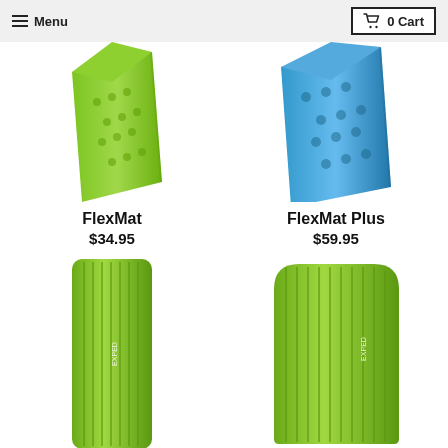Menu | 0 Cart
[Figure (photo): Lime green folded foam camping mat (FlexMat), partially cropped at top]
FlexMat
$34.95
[Figure (photo): Blue folded foam camping mat (FlexMat Plus), partially cropped at top]
FlexMat Plus
$59.95
[Figure (photo): Lime green rolled/flat foam sleeping pad (Ultra 1R), ribbed texture, tall rectangular shape]
Ultra 1R
$129.95
[Figure (photo): Lime green foam sleeping pad (Ultra 1R Duo), wider rectangular shape with rounded top corners, ribbed texture]
Ultra 1R Duo
$249.95